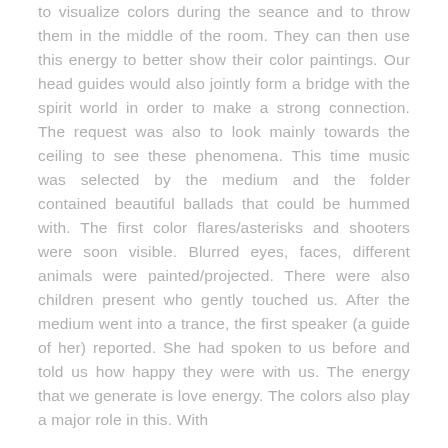to visualize colors during the seance and to throw them in the middle of the room. They can then use this energy to better show their color paintings. Our head guides would also jointly form a bridge with the spirit world in order to make a strong connection. The request was also to look mainly towards the ceiling to see these phenomena. This time music was selected by the medium and the folder contained beautiful ballads that could be hummed with. The first color flares/asterisks and shooters were soon visible. Blurred eyes, faces, different animals were painted/projected. There were also children present who gently touched us. After the medium went into a trance, the first speaker (a guide of her) reported. She had spoken to us before and told us how happy they were with us. The energy that we generate is love energy. The colors also play a major role in this. With